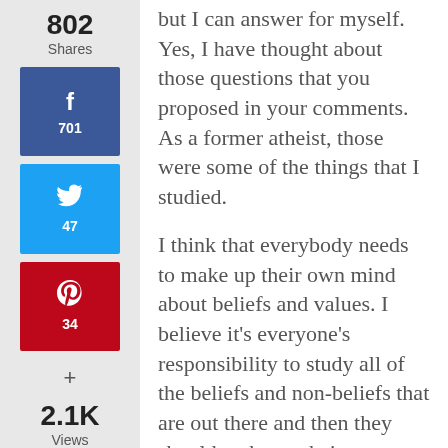802 Shares
[Figure (infographic): Facebook share button with count 701]
[Figure (infographic): Twitter share button with count 47]
[Figure (infographic): Pinterest share button with count 34]
+
2.1K Views
but I can answer for myself. Yes, I have thought about those questions that you proposed in your comments. As a former atheist, those were some of the things that I studied.

I think that everybody needs to make up their own mind about beliefs and values. I believe it's everyone's responsibility to study all of the beliefs and non-beliefs that are out there and then they should make up their